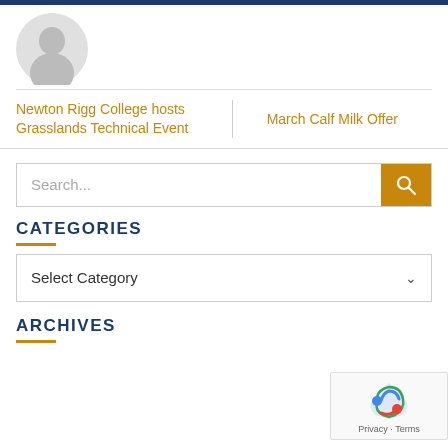[Figure (illustration): Grey silhouette avatar/profile icon at top left]
Newton Rigg College hosts Grasslands Technical Event
March Calf Milk Offer
Search...
CATEGORIES
Select Category
ARCHIVES